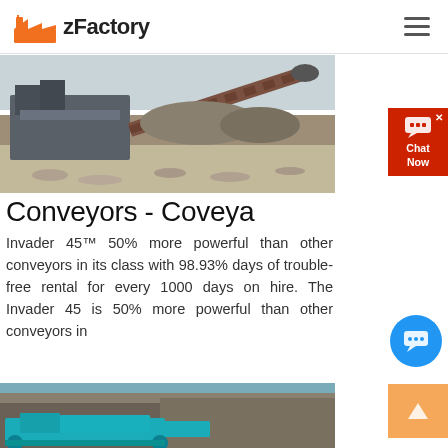zFactory
[Figure (photo): Industrial conveyor belt and crushing machinery at a quarry/mining site, with a large inclined conveyor extending diagonally, gravel and rock surroundings, overcast sky.]
Conveyors - Coveya
Invader 45™ 50% more powerful than other conveyors in its class with 98.93% days of trouble-free rental for every 1000 days on hire. The Invader 45 is 50% more powerful than other conveyors in
[Figure (photo): Teal/turquoise colored conveyor or crushing equipment at a rock quarry, with rock face visible in the background.]